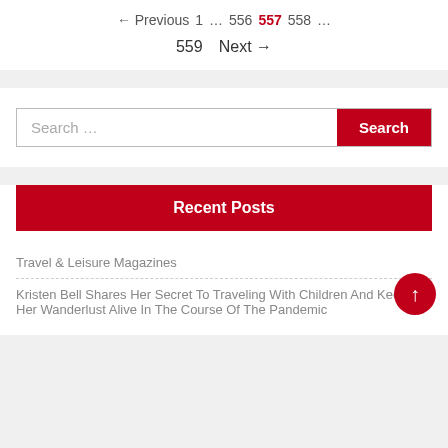← Previous 1 … 556 557 558 … 559 Next →
Search ...
Search
Recent Posts
Travel & Leisure Magazines
Kristen Bell Shares Her Secret To Traveling With Children And Keeping Her Wanderlust Alive In The Course Of The Pandemic